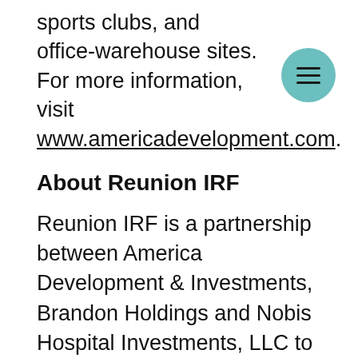sports clubs, and office-warehouse sites. For more information, visit www.americadevelopment.com.
About Reunion IRF
Reunion IRF is a partnership between America Development & Investments, Brandon Holdings and Nobis Hospital Investments, LLC to develop and operate inpatient rehabilitation facilities in select markets across the United States.
About Nobis Rehabilitation Partners